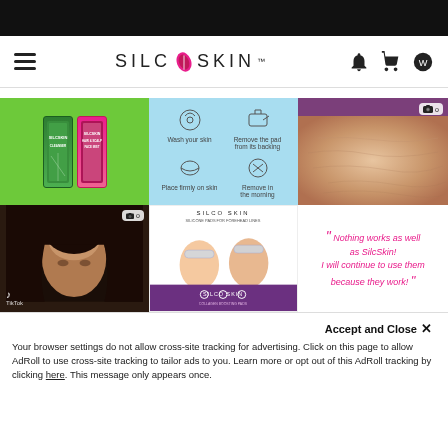SILC SKIN
[Figure (photo): SilcSkin product boxes (green and pink) on green background]
[Figure (infographic): How-to instruction card: Wash your skin, Remove the pad from its backing, Place firmly on skin, Remove in the morning]
[Figure (photo): Close-up of skin texture on forehead with purple headband]
[Figure (screenshot): TikTok video of a young woman with dark hair]
[Figure (photo): SilcSkin product packaging with model faces]
“Nothing works as well as SilcSkin! I will continue to use them because they work!”
Accept and Close ×
Your browser settings do not allow cross-site tracking for advertising. Click on this page to allow AdRoll to use cross-site tracking to tailor ads to you. Learn more or opt out of this AdRoll tracking by clicking here. This message only appears once.